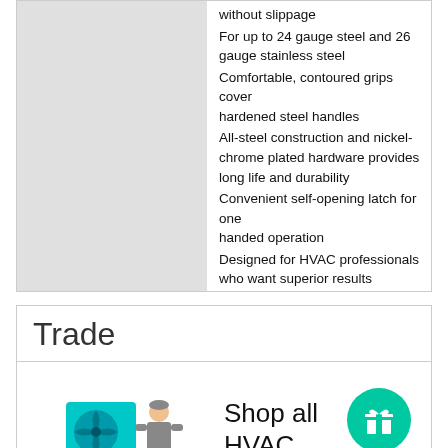[Figure (illustration): Gray placeholder image area for product photo]
without slippage
For up to 24 gauge steel and 26 gauge stainless steel
Comfortable, contoured grips cover hardened steel handles
All-steel construction and nickel-chrome plated hardware provides long life and durability
Convenient self-opening latch for one handed operation
Designed for HVAC professionals who want superior results
Trade
[Figure (illustration): HVAC trade icon showing a fan unit and a worker/technician figure in teal and gray colors]
Shop all HVAC